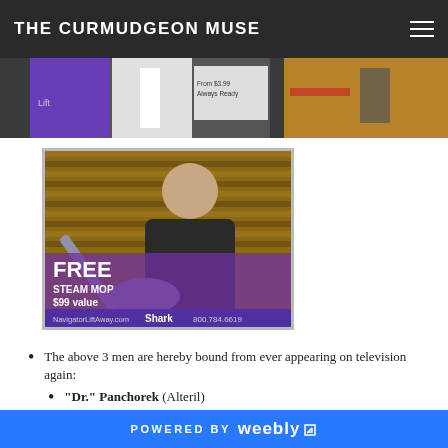THE CURMUDGEON MUSE
[Figure (photo): Top image strip showing partial cropped images including a purple background with text, a person in white coat, a price tag, and products on a wooden surface]
[Figure (photo): TV commercial screenshot showing a bald man in black holding a steam mop, with text 'FREE STEAM MOP $99 value', NavigatorLiftAway.com, Shark logo, and phone number 800.784.6619]
The above 3 men are hereby bound from ever appearing on television again:
"Dr." Panchorek (Alteril)
"Chef" Tony
Dude with the eyebrows that sells Shark
POWERED BY weebly